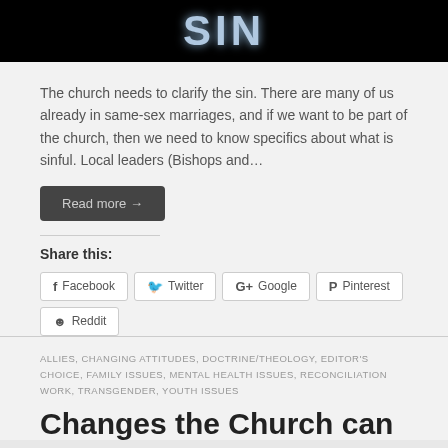[Figure (photo): Black banner image with the word SIN in large blue-gray bold letters]
The church needs to clarify the sin. There are many of us already in same-sex marriages, and if we want to be part of the church, then we need to know specifics about what is sinful. Local leaders (Bishops and…
Read more →
Share this:
Facebook
Twitter
Google
Pinterest
Reddit
ALLIES, CHANGING ATTITUDES, DOCTRINE/THEOLOGY, EDITOR'S CHOICE, FAMILY ISSUES, MENTAL HEALTH ISSUES, RECONCILIATION WORK, TRANSGENDER, YOUTH ISSUES
Changes the Church can